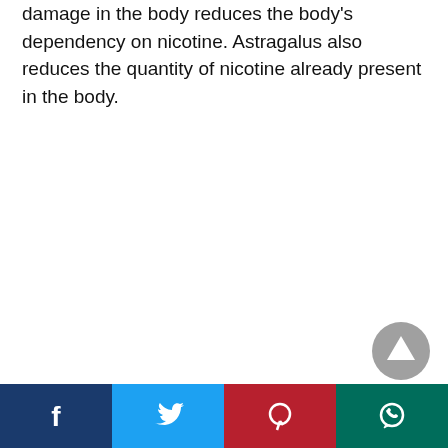damage in the body reduces the body's dependency on nicotine. Astragalus also reduces the quantity of nicotine already present in the body.
[Figure (other): Scroll-to-top button: grey circle with white upward-pointing triangle/arrow]
[Figure (other): Social media share bar with four buttons: Facebook (dark blue), Twitter (light blue), Pinterest (dark red), WhatsApp (teal)]